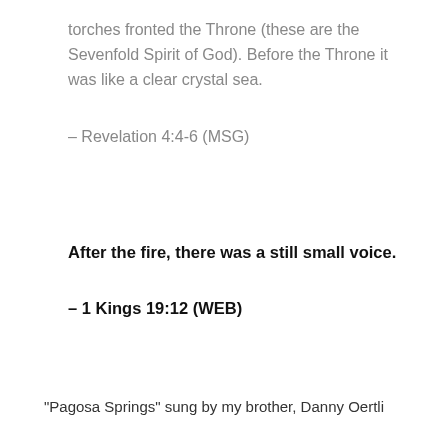torches fronted the Throne (these are the Sevenfold Spirit of God). Before the Throne it was like a clear crystal sea.
– Revelation 4:4-6 (MSG)
After the fire, there was a still small voice.
– 1 Kings 19:12 (WEB)
“Pagosa Springs” sung by my brother, Danny Oertli